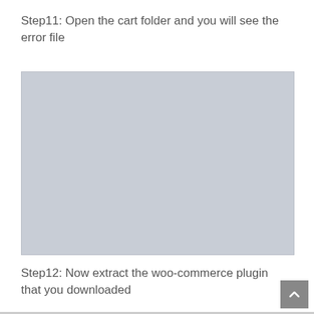Step11: Open the cart folder and you will see the error file
[Figure (screenshot): A blank/placeholder grey image representing a screenshot of a cart folder showing an error file]
Step12: Now extract the woo-commerce plugin that you downloaded